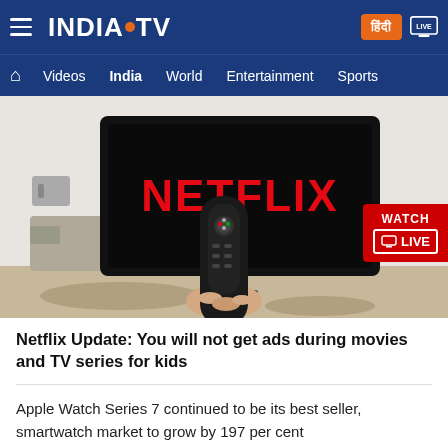INDIA TV — navigation bar with Videos, India, World, Entertainment, Sports
[Figure (photo): Person holding a black TV remote pointed at a large TV screen displaying the Netflix logo in red letters on a black background, in a modern living room setting. A red 'WATCH LIVE' badge is overlaid on the right side.]
Netflix Update: You will not get ads during movies and TV series for kids
Apple Watch Series 7 continued to be its best seller, smartwatch market to grow by 197 per cent